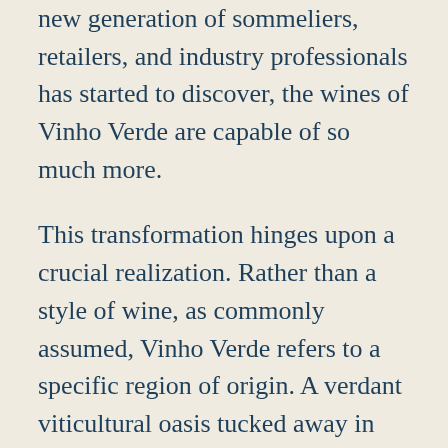new generation of sommeliers, retailers, and industry professionals has started to discover, the wines of Vinho Verde are capable of so much more.
This transformation hinges upon a crucial realization. Rather than a style of wine, as commonly assumed, Vinho Verde refers to a specific region of origin. A verdant viticultural oasis tucked away in the hills of the Minho district in Portugal's rainy northwest, the area couldn't be better equipped to produce an astonishingly diverse range of wines that rank among the world's